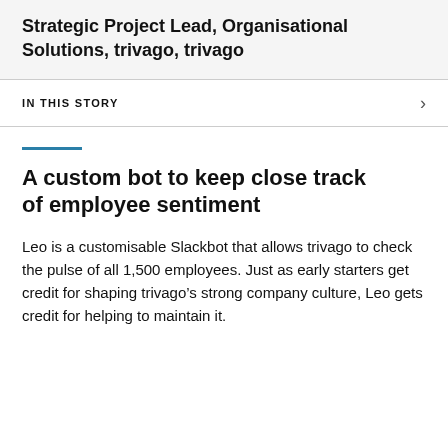Strategic Project Lead, Organisational Solutions, trivago, trivago
IN THIS STORY
A custom bot to keep close track of employee sentiment
Leo is a customisable Slackbot that allows trivago to check the pulse of all 1,500 employees. Just as early starters get credit for shaping trivago’s strong company culture, Leo gets credit for helping to maintain it.